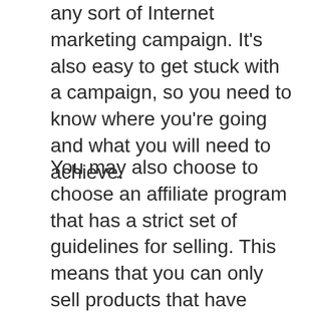any sort of Internet marketing campaign. It's also easy to get stuck with a campaign, so you need to know where you're going and what you will need to achieve.
You may also choose to choose an affiliate program that has a strict set of guidelines for selling. This means that you can only sell products that have already been approved for sale by the site. Or by the provider, but there are different principles that you are still free to follow.
It is important to know where to get started before beginning your Fiverr online job. It may take you a little bit of time to study each and every program to find one which suits you and your needs, but it will pay off